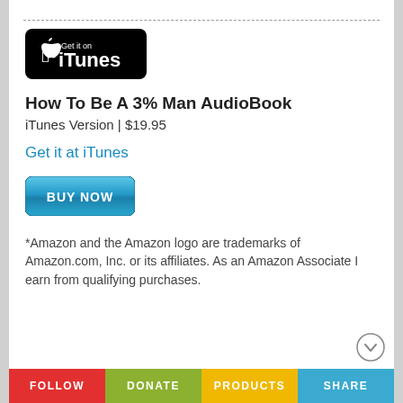[Figure (logo): iTunes 'Get it on iTunes' badge — black rounded rectangle with Apple logo and text 'Get it on iTunes']
How To Be A 3% Man AudioBook
iTunes Version | $19.95
Get it at iTunes
[Figure (other): Blue 'BUY NOW' button]
*Amazon and the Amazon logo are trademarks of Amazon.com, Inc. or its affiliates. As an Amazon Associate I earn from qualifying purchases.
FOLLOW  DONATE  PRODUCTS  SHARE